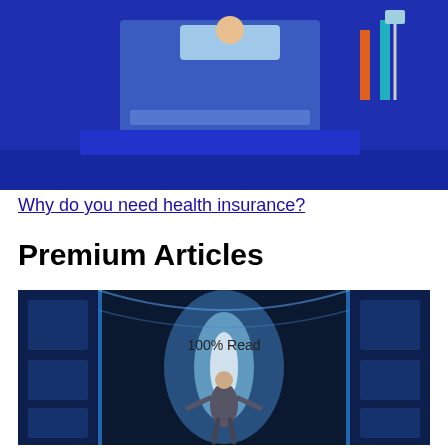[Figure (photo): Medical/health insurance themed illustration with blue background showing a person in a hospital bed with medical equipment, orange and teal accents]
Why do you need health insurance?
Premium Articles
[Figure (photo): Technology themed photo showing a businessman walking through a futuristic data center corridor with blue lighting and digital screens. Text overlay reads '100% Read']